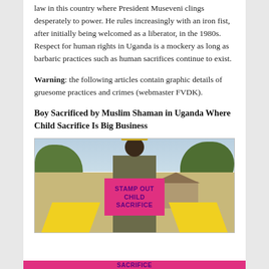law in this country where President Museveni clings desperately to power. He rules increasingly with an iron fist, after initially being welcomed as a liberator, in the 1980s. Respect for human rights in Uganda is a mockery as long as barbaric practices such as human sacrifices continue to exist.
Warning: the following articles contain graphic details of gruesome practices and crimes (webmaster FVDK).
Boy Sacrificed by Muslim Shaman in Uganda Where Child Sacrifice Is Big Business
[Figure (photo): A man in a khaki uniform and yellow pointed hat holds a pink/magenta sign reading 'STAMP OUT CHILD SACRIFICE' in front of a building with trees in the background. He is standing on a dirt area and yellow fabric/cloth is visible at the bottom of the frame.]